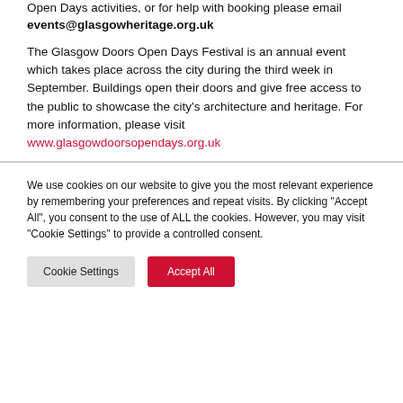Open Days activities, or for help with booking please email events@glasgowheritage.org.uk
The Glasgow Doors Open Days Festival is an annual event which takes place across the city during the third week in September. Buildings open their doors and give free access to the public to showcase the city's architecture and heritage. For more information, please visit www.glasgowdoorsopendays.org.uk
We use cookies on our website to give you the most relevant experience by remembering your preferences and repeat visits. By clicking "Accept All", you consent to the use of ALL the cookies. However, you may visit "Cookie Settings" to provide a controlled consent.